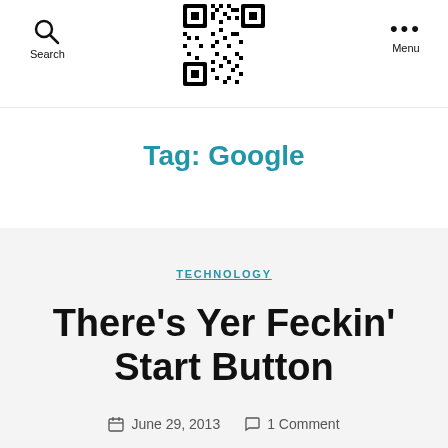Search | QR Code | Menu
Tag: Google
TECHNOLOGY
There's Yer Feckin' Start Button
June 29, 2013  1 Comment